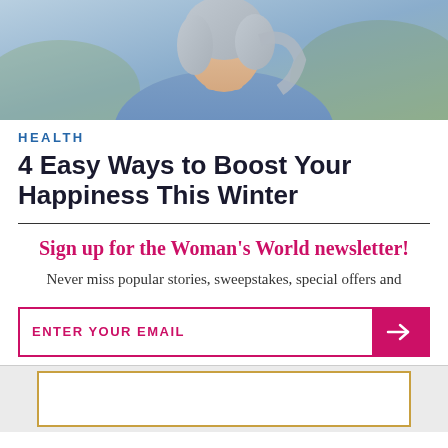[Figure (photo): Photo of a woman with gray/silver hair wearing a blue shirt, outdoors background, cropped to show from shoulders up.]
HEALTH
4 Easy Ways to Boost Your Happiness This Winter
Sign up for the Woman's World newsletter!
Never miss popular stories, sweepstakes, special offers and
ENTER YOUR EMAIL